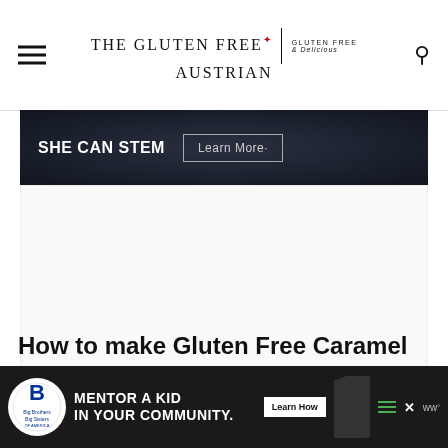The Gluten Free Austrian — Gluten Free & Delicious
[Figure (screenshot): Dark advertisement banner for 'She Can Stem' with a 'Learn More' button]
[Figure (screenshot): White advertisement content area with Mediavine logo watermark in bottom right corner]
How to make Gluten Free Caramel
[Figure (screenshot): Bottom advertisement bar for Big Brothers Big Sisters 'Mentor a Kid in Your Community' with Learn How button, close X, hamburger menu and Mediavine logo]